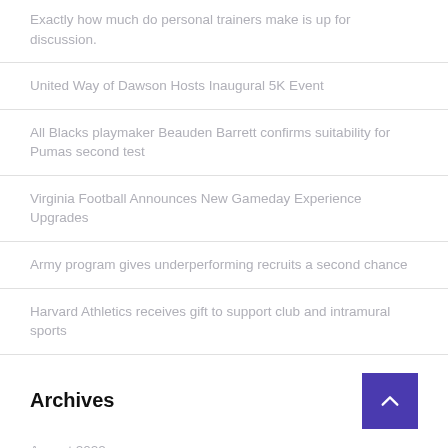Exactly how much do personal trainers make is up for discussion.
United Way of Dawson Hosts Inaugural 5K Event
All Blacks playmaker Beauden Barrett confirms suitability for Pumas second test
Virginia Football Announces New Gameday Experience Upgrades
Army program gives underperforming recruits a second chance
Harvard Athletics receives gift to support club and intramural sports
Archives
August 2022